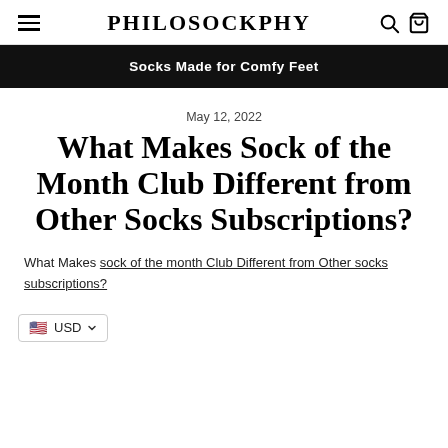PHILOSOCKPHY
Socks Made for Comfy Feet
May 12, 2022
What Makes Sock of the Month Club Different from Other Socks Subscriptions?
What Makes sock of the month Club Different from Other socks subscriptions?
USD